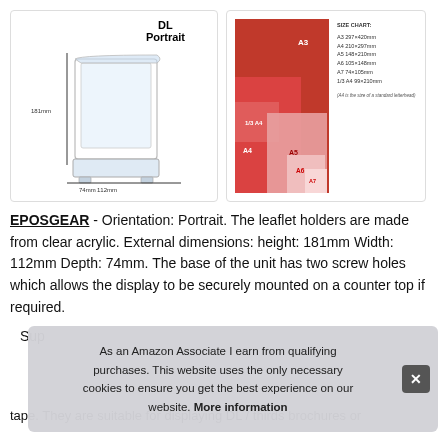[Figure (photo): DL Portrait acrylic leaflet holder with dimensions annotated: height 181mm, width 112mm, depth 74mm]
[Figure (infographic): Paper size chart showing relative sizes A3, A4, A5, A6, A7, 1/3 A4 as overlapping red rectangles with a size chart legend listing dimensions]
EPOSGEAR - Orientation: Portrait. The leaflet holders are made from clear acrylic. External dimensions: height: 181mm Width: 112mm Depth: 74mm. The base of the unit has two screw holes which allows the display to be securely mounted on a counter top if required.
As an Amazon Associate I earn from qualifying purchases. This website uses the only necessary cookies to ensure you get the best experience on our website. More information
Sup... tape. They are suitable for displaying DL / thirds brochures or